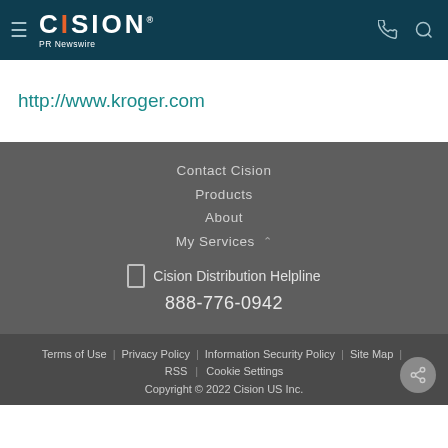Cision PR Newswire
http://www.kroger.com
Contact Cision
Products
About
My Services
Cision Distribution Helpline 888-776-0942
Terms of Use | Privacy Policy | Information Security Policy | Site Map | RSS | Cookie Settings Copyright © 2022 Cision US Inc.